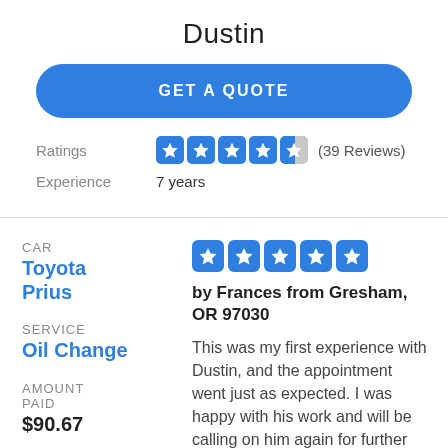Dustin
GET A QUOTE
Ratings  ★★★★½ (39 Reviews)
Experience  7 years
CAR
Toyota Prius
SERVICE
Oil Change
AMOUNT PAID
$90.67
[Figure (other): 5 filled blue star rating boxes]
by Frances from Gresham, OR 97030
This was my first experience with Dustin, and the appointment went just as expected. I was happy with his work and will be calling on him again for further